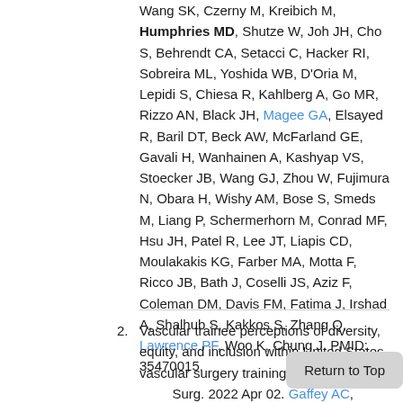Wang SK, Czerny M, Kreibich M, Humphries MD, Shutze W, Joh JH, Cho S, Behrendt CA, Setacci C, Hacker RI, Sobreira ML, Yoshida WB, D'Oria M, Lepidi S, Chiesa R, Kahlberg A, Go MR, Rizzo AN, Black JH, Magee GA, Elsayed R, Baril DT, Beck AW, McFarland GE, Gavali H, Wanhainen A, Kashyap VS, Stoecker JB, Wang GJ, Zhou W, Fujimura N, Obara H, Wishy AM, Bose S, Smeds M, Liang P, Schermerhorn M, Conrad MF, Hsu JH, Patel R, Lee JT, Liapis CD, Moulakakis KG, Farber MA, Motta F, Ricco JB, Bath J, Coselli JS, Aziz F, Coleman DM, Davis FM, Fatima J, Irshad A, Shalhub S, Kakkos S, Zhang Q, Lawrence PF, Woo K, Chung J. PMID: 35470015.
2. Vascular trainee perceptions of diversity, equity, and inclusion within United States vascular surgery training programs. J Vasc Surg. 2022 Apr 02. Gaffey AC, Goodney P, Shames ML, Humphries M, Velazquez DH, Sachdev-Ost U, Robinson WP, Singh N. PMID: